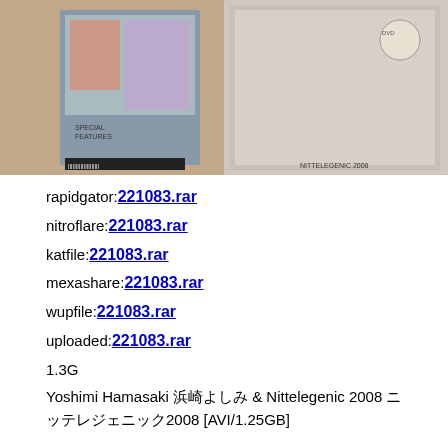[Figure (photo): DVD cover image showing Japanese entertainers, with DVD packaging visible including barcode and text 'NITTELEGENIC 2008']
rapidgator:221083.rar
nitroflare:221083.rar
katfile:221083.rar
mexashare:221083.rar
wupfile:221083.rar
uploaded:221083.rar
1.3G
Yoshimi Hamasaki 浜崎よしみ & Nittelegenic 2008 ニッテレジェニック2008 [AVI/1.25GB]